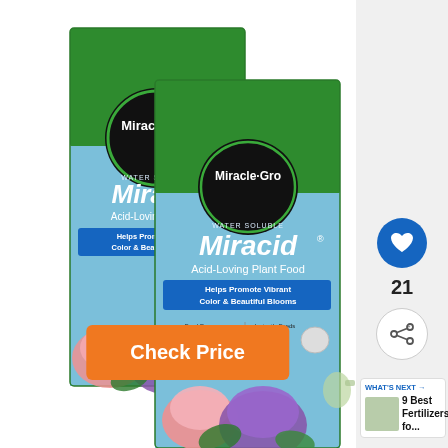[Figure (photo): Two boxes of Miracle-Gro Miracid Acid-Loving Plant Food, water soluble. Green and light blue boxes with the Miracle-Gro logo in a black circle, featuring hydrangea flowers (pink and purple) on the front. Text on box: 'Helps Promote Vibrant Color & Beautiful Blooms'. Two boxes shown side-by-side at an angle.]
Check Price
21
WHAT'S NEXT → 9 Best Fertilizers fo...